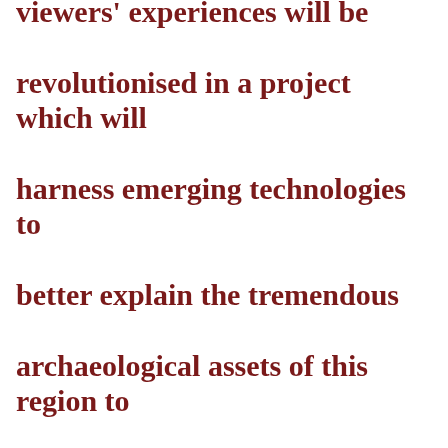viewers' experiences will be revolutionised in a project which will harness emerging technologies to better explain the tremendous archaeological assets of this region to locals and visitors alike.
Uist has long been appreciated not only for its scenic grandeur and notable wildlife but for impressive archaeological riches too. In a project which will follow the trail of the Hebridean Way, visitors and the wider public will